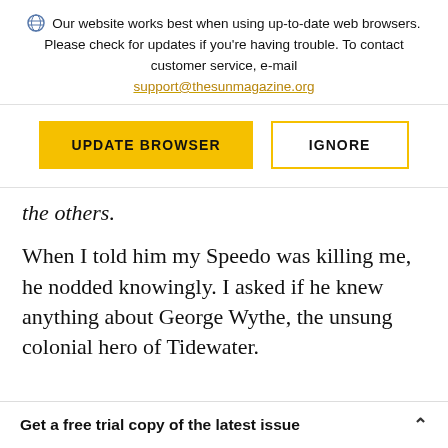Our website works best when using up-to-date web browsers. Please check for updates if you're having trouble. To contact customer service, e-mail support@thesunmagazine.org
[Figure (other): Two buttons: a yellow filled 'UPDATE BROWSER' button and a yellow-outlined 'IGNORE' button]
the others.
When I told him my Speedo was killing me, he nodded knowingly. I asked if he knew anything about George Wythe, the unsung colonial hero of Tidewater.
Get a free trial copy of the latest issue